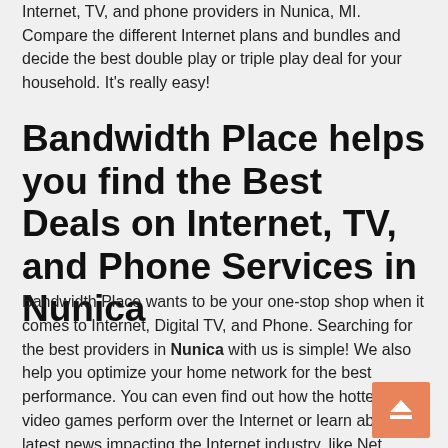Internet, TV, and phone providers in Nunica, MI. Compare the different Internet plans and bundles and decide the best double play or triple play deal for your household. It's really easy!
Bandwidth Place helps you find the Best Deals on Internet, TV, and Phone Services in Nunica
Bandwidth Place wants to be your one-stop shop when it comes to Internet, Digital TV, and Phone. Searching for the best providers in Nunica with us is simple! We also help you optimize your home network for the best performance. You can even find out how the hottest 4K video games perform over the Internet or learn about the latest news impacting the Internet industry, like Net Neutrality.